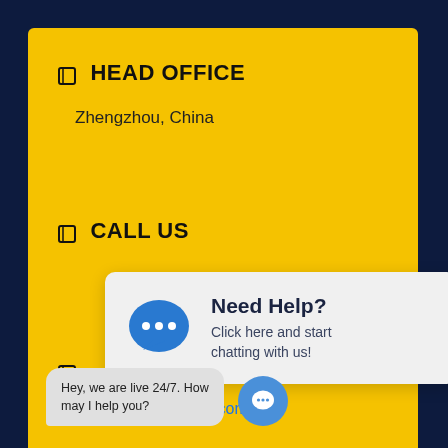HEAD OFFICE
Zhengzhou, China
CALL US
[Figure (infographic): Chat popup overlay with blue speech bubble icon, heading 'Need Help?', and text 'Click here and start chatting with us!']
vip@wearsparparts.com
Hey, we are live 24/7. How may I help you?